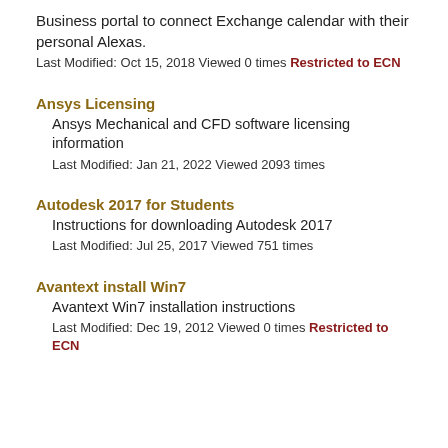Business portal to connect Exchange calendar with their personal Alexas.
Last Modified: Oct 15, 2018 Viewed 0 times Restricted to ECN
Ansys Licensing
Ansys Mechanical and CFD software licensing information
Last Modified: Jan 21, 2022 Viewed 2093 times
Autodesk 2017 for Students
Instructions for downloading Autodesk 2017
Last Modified: Jul 25, 2017 Viewed 751 times
Avantext install Win7
Avantext Win7 installation instructions
Last Modified: Dec 19, 2012 Viewed 0 times Restricted to ECN